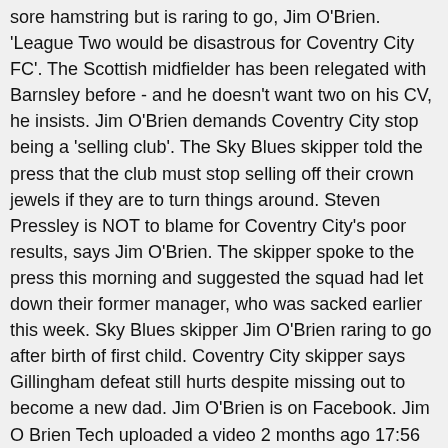sore hamstring but is raring to go, Jim O'Brien. 'League Two would be disastrous for Coventry City FC'. The Scottish midfielder has been relegated with Barnsley before - and he doesn't want two on his CV, he insists. Jim O'Brien demands Coventry City stop being a 'selling club'. The Sky Blues skipper told the press that the club must stop selling off their crown jewels if they are to turn things around. Steven Pressley is NOT to blame for Coventry City's poor results, says Jim O'Brien. The skipper spoke to the press this morning and suggested the squad had let down their former manager, who was sacked earlier this week. Sky Blues skipper Jim O'Brien raring to go after birth of first child. Coventry City skipper says Gillingham defeat still hurts despite missing out to become a new dad. Jim O'Brien is on Facebook. Jim O Brien Tech uploaded a video 2 months ago 17:56 First look and detailed walk through of the emporia smart 3 mini. Derry City Football Club. How have Coventry City coped without Notts County's Michael Doyle? Coventry City's Jim O'Brien sees this shot just go wide during the 1st half against Fleetwood Town 5 of 42. Jim O'Brien. Actor: The Defenders. Jim